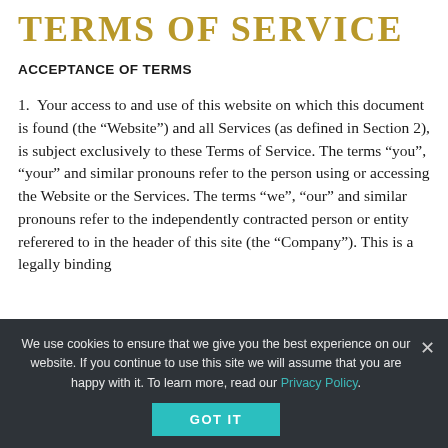TERMS OF SERVICE
ACCEPTANCE OF TERMS
Your access to and use of this website on which this document is found (the “Website”) and all Services (as defined in Section 2), is subject exclusively to these Terms of Service. The terms “you”, “your” and similar pronouns refer to the person using or accessing the Website or the Services. The terms “we”, “our” and similar pronouns refer to the independently contracted person or entity referered to in the header of this site (the “Company”). This is a legally binding
We use cookies to ensure that we give you the best experience on our website. If you continue to use this site we will assume that you are happy with it. To learn more, read our Privacy Policy.
GOT IT